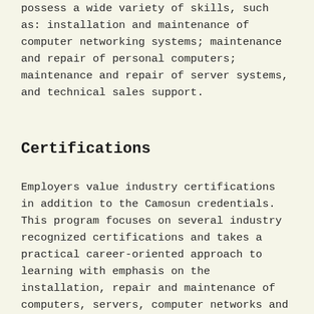possess a wide variety of skills, such as: installation and maintenance of computer networking systems; maintenance and repair of personal computers; maintenance and repair of server systems, and technical sales support.
Certifications
Employers value industry certifications in addition to the Camosun credentials. This program focuses on several industry recognized certifications and takes a practical career-oriented approach to learning with emphasis on the installation, repair and maintenance of computers, servers, computer networks and electronic systems. You have an opportunity to graduate after two terms of studies or to continue on for a second